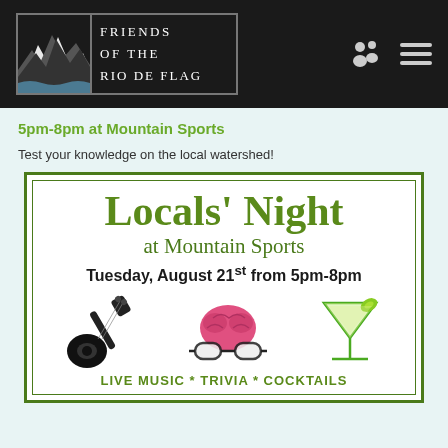Friends of the Rio de Flag
5pm-8pm at Mountain Sports
Test your knowledge on the local watershed!
[Figure (illustration): Locals' Night at Mountain Sports flyer. Tuesday, August 21st from 5pm-8pm. Icons: acoustic guitar, brain with glasses, cocktail glass. Text at bottom: LIVE MUSIC * TRIVIA * COCKTAILS]